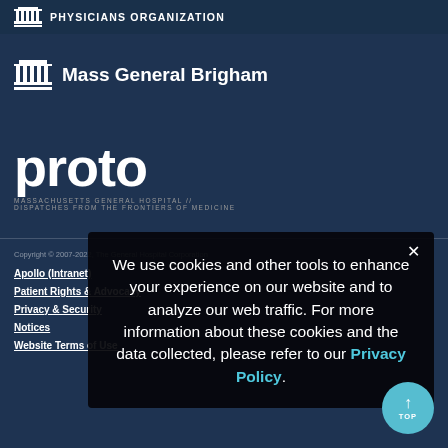PHYSICIANS ORGANIZATION
[Figure (logo): Mass General Brigham logo with column icon and text]
[Figure (logo): Proto magazine logo - Massachusetts General Hospital dispatches from the frontiers of medicine]
Copyright © 2007-2022, The General Hospital Corporation
Apollo (Intranet)
Patient Rights & Advocacy
Privacy & Security
Notices
Website Terms of Use
We use cookies and other tools to enhance your experience on our website and to analyze our web traffic. For more information about these cookies and the data collected, please refer to our Privacy Policy.